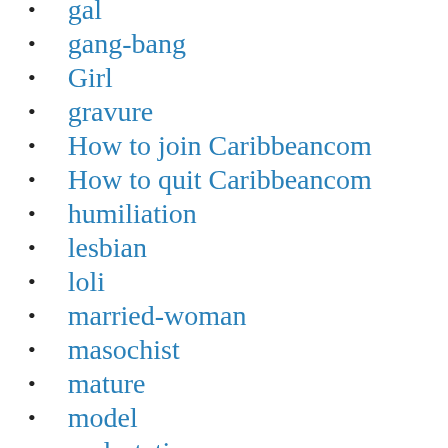gal
gang-bang
Girl
gravure
How to join Caribbeancom
How to quit Caribbeancom
humiliation
lesbian
loli
married-woman
masochist
mature
model
molestation
Orgy
Peeping